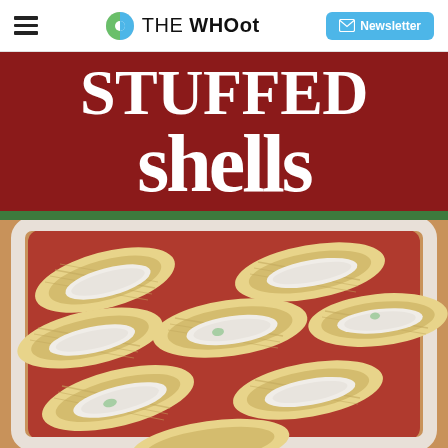THE WHOot | Newsletter
[Figure (photo): Stuffed shells in a white baking dish with red tomato sauce, filled with ricotta cheese mixture, viewed from above. Title overlay reading 'STUFFED shells' on dark red background with green stripe.]